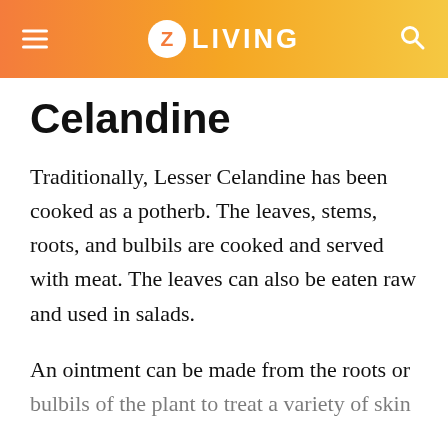Z LIVING
Celandine
Traditionally, Lesser Celandine has been cooked as a potherb. The leaves, stems, roots, and bulbils are cooked and served with meat. The leaves can also be eaten raw and used in salads.
An ointment can be made from the roots or bulbils of the plant to treat a variety of skin